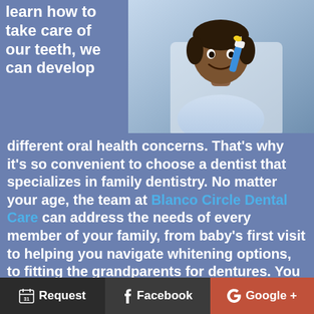learn how to take care of our teeth, we can develop
[Figure (photo): Child brushing teeth, smiling, wearing a light blue shirt, held by an adult in white]
different oral health concerns. That’s why it’s so convenient to choose a dentist that specializes in family dentistry. No matter your age, the team at Blanco Circle Dental Care can address the needs of every member of your family, from baby’s first visit to helping you navigate whitening options, to fitting the grandparents for dentures. You can set up an appointment with Dr. Klugman and Dr. Bianco today at their Salinas, CA dentist office.
Request | Facebook | Google +